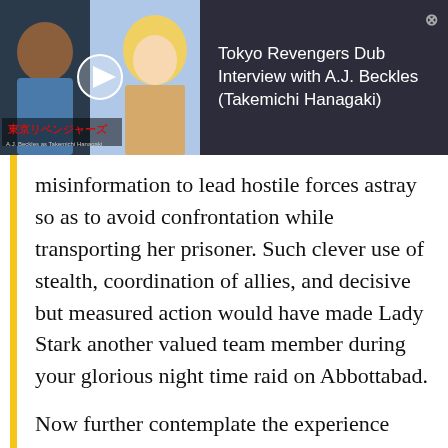[Figure (screenshot): Ad banner for 'Tokyo Revengers Dub Interview with A.J. Beckles (Takemichi Hanagaki)' with a dark background, showing a thumbnail of the anime and a person, with a close button.]
misinformation to lead hostile forces astray so as to avoid confrontation while transporting her prisoner. Such clever use of stealth, coordination of allies, and decisive but measured action would have made Lady Stark another valued team member during your glorious night time raid on Abbottabad.
Now further contemplate the experience Lady Stark has as an advisor. She has